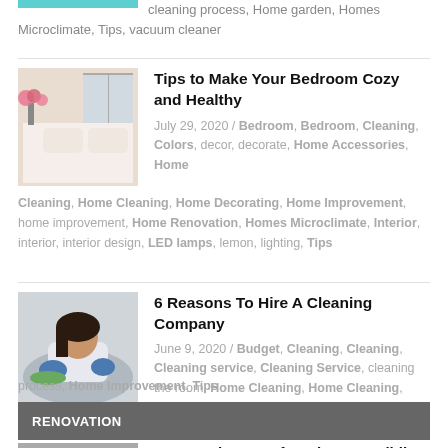[Figure (photo): Teal/cyan colored rectangle - partial image from previous article]
cleaning process, Home garden, Homes Microclimate, Tips, vacuum cleaner
[Figure (photo): Bedroom scene with pink flowers in vase and pillows on white bed]
Tips to Make Your Bedroom Cozy and Healthy
July 29, 2020 / Bedroom, Bedroom, Cleaning, Colors, decor, decorate, Home Accessories, Home Cleaning, Home Cleaning, Home Decorating, Home Improvement, home improvement, Home Renovation, Homes Microclimate, Interior, interior, interior design, LED lamps, lemon, lighting, Tips
[Figure (photo): Woman in blue gloves cleaning a surface, lying down]
6 Reasons To Hire A Cleaning Company
June 9, 2020 / Budget, Cleaning, Cleaning, Cleaning service, Cleaning Service, cleaning the room, Home Cleaning, Home Cleaning, home cleaning process, Home Improvement, Tips
RENOVATION
[Figure (photo): Man with glasses - partial image at bottom]
Pros And Cons Of Buying Or Building A